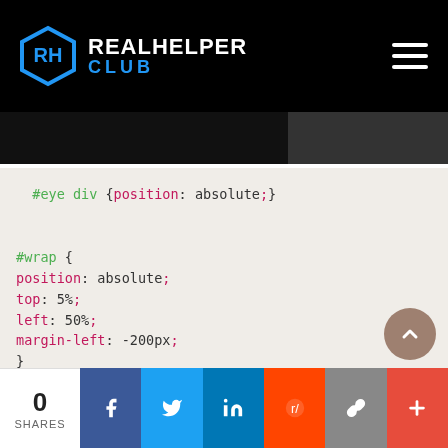REALHELPER CLUB
[Figure (screenshot): CSS code snippet showing #eye div with position absolute, #wrap with position absolute top 5% left 50% margin-left -200px, and #head with width 400px height 600px border-radius 48% 48% 42% 42%]
0 SHARES | Facebook | Twitter | LinkedIn | Reddit | Copy | Plus